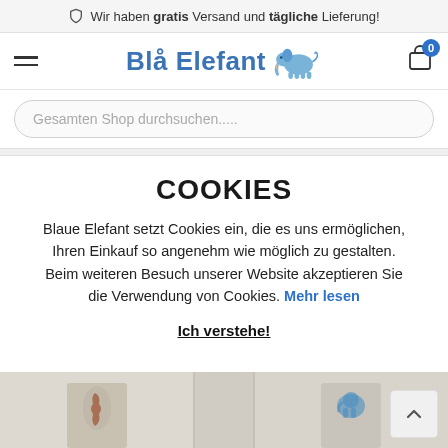Wir haben gratis Versand und tägliche Lieferung!
[Figure (logo): Blå Elefant logo with blue elephant icon and stylized text]
Gesamten Shop durchsuchen.....
COOKIES
Blaue Elefant setzt Cookies ein, die es uns ermöglichen, Ihren Einkauf so angenehm wie möglich zu gestalten. Beim weiteren Besuch unserer Website akzeptieren Sie die Verwendung von Cookies. Mehr lesen
Ich verstehe!
[Figure (photo): Product images at bottom - bags/tote bags with animal prints including seahorse and elephant designs]